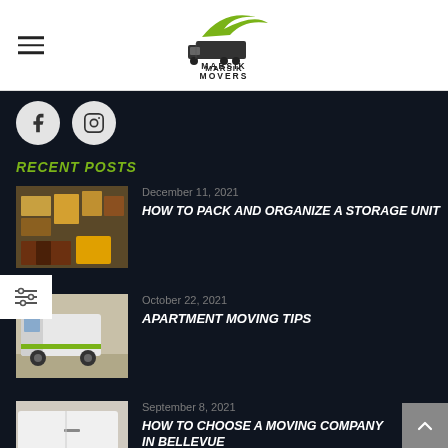[Figure (logo): Marsik Movers logo with green truck and swoosh graphic, text MARSIK MOVERS below]
RECENT POSTS
December 11, 2021
HOW TO PACK AND ORGANIZE A STORAGE UNIT
[Figure (photo): Photo of a packed storage unit with boxes and items]
October 22, 2021
APARTMENT MOVING TIPS
[Figure (photo): Photo of a white moving truck]
September 8, 2021
HOW TO CHOOSE A MOVING COMPANY IN BELLEVUE
[Figure (photo): Photo of a white moving truck side view]